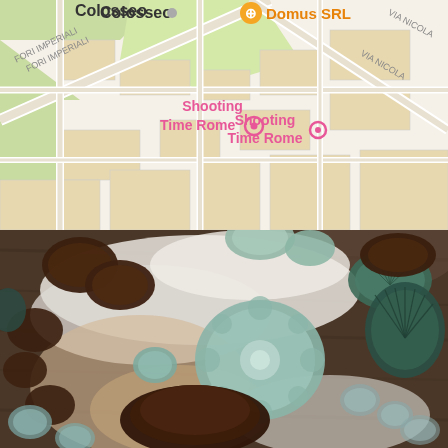[Figure (map): Street map showing Colosseo area in Rome, Italy. Labels visible: 'Colosseo' in black at top-left with a gray dot, 'Domus SRL' in orange at top-right with an orange location icon, 'FORI IMPERIALI' road label in gray on upper-left, 'VIA NICOLA' road label in gray on right side, 'Shooting Time Rome' in pink/magenta text with a pink circle marker in the center. Map shows roads, green park areas, and beige/tan building blocks.]
[Figure (photo): Overhead flatlay photograph of chocolate madeleines and other small chocolate cakes/pastries in various shell and flower-shaped metal/glass molds (pale blue-green ceramic and glass molds). Items arranged on a wooden surface with white linen fabric. The baked goods are dark brown/chocolate colored.]